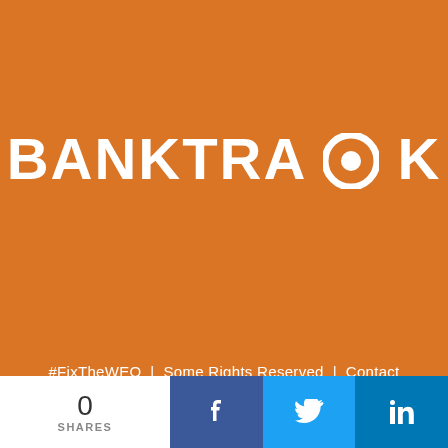[Figure (logo): BankTrack logo — white bold text 'BANKTRACK' with stylized target/eye icon replacing the letter O in TRACK, on orange background]
#FixTheWEO | Some Rights Reserved | Contact
0 SHARES
[Figure (infographic): Social sharing bar with Facebook (dark blue), Twitter (light blue), and LinkedIn (medium blue) icons]